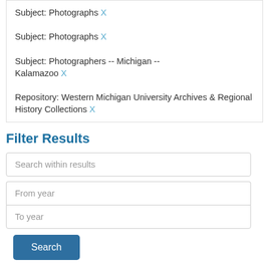| Subject: Photographs X |
| Subject: Photographs X |
| Subject: Photographers -- Michigan -- Kalamazoo X |
| Repository: Western Michigan University Archives & Regional History Collections X |
Filter Results
Search within results
From year
To year
Search
Additional filters: